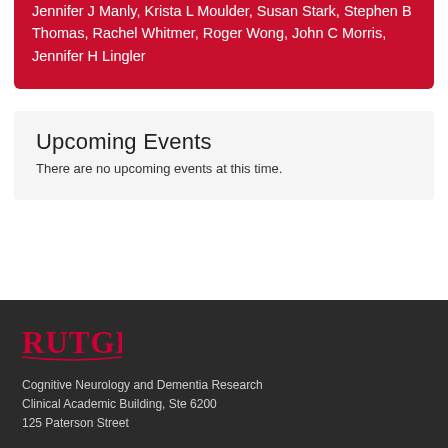Jennifer J Manly, Krista L Moulder, Susan Stark, Stephen B Thomas, Rachel Whitmer, Roger Wong, John C Morris, Jennifer H Lingler
Upcoming Events
There are no upcoming events at this time.
[Figure (logo): Rutgers University logo in red on dark background]
Cognitive Neurology and Dementia Research
Clinical Academic Building, Ste 6200
125 Paterson Street